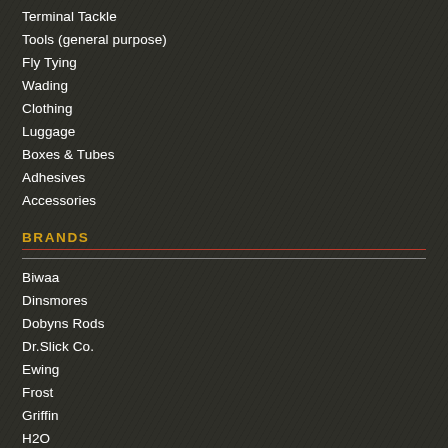Terminal Tackle
Tools (general purpose)
Fly Tying
Wading
Clothing
Luggage
Boxes & Tubes
Adhesives
Accessories
BRANDS
Biwaa
Dinsmores
Dobyns Rods
Dr.Slick Co.
Ewing
Frost
Griffin
H2O
Lucky Craft
Lunkerhunt
Maria
McNett
Molix
Mora
N.S. Black Hole